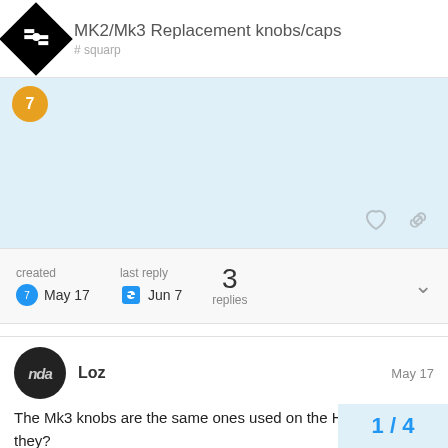MK2/Mk3 Replacement knobs/caps
The Mk3 knobs are the same ones used on the Hapax, aren't they?
Loads of Hapax users have been changing their knobs (there is a thread about it - Encoder switch issue - #38 by cowboy 11 ) so maybe you could ask people there if they'd be willing to send you their old knobs? Otherwise ask Squar from with their contact form.
created May 17   last reply Jun 7   3 replies
1 / 4